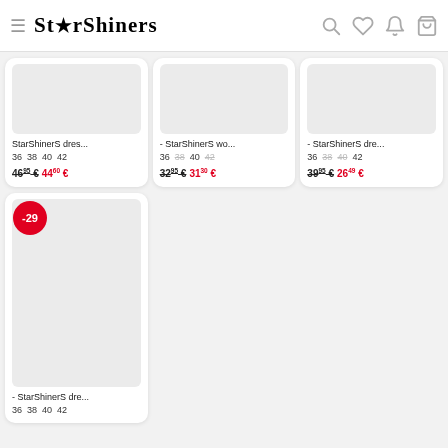StarShinerS
StarShinerS dres... | 36 38 40 42 | 46.95 € 44.60 €
- StarShinerS wo... | 36 38 40 42 | 32.95 € 31.30 €
- StarShinerS dre... | 36 38 40 42 | 39.95 € 26.49 €
- StarShinerS dre... | 36 38 40 42 | -29